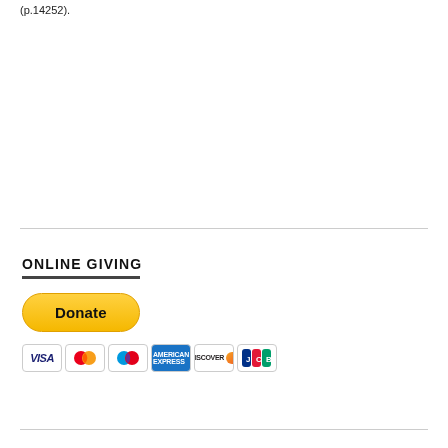(p.14252).
ONLINE GIVING
[Figure (other): PayPal Donate button with credit card icons below (Visa, Mastercard, Maestro, American Express, Discover, JCB)]